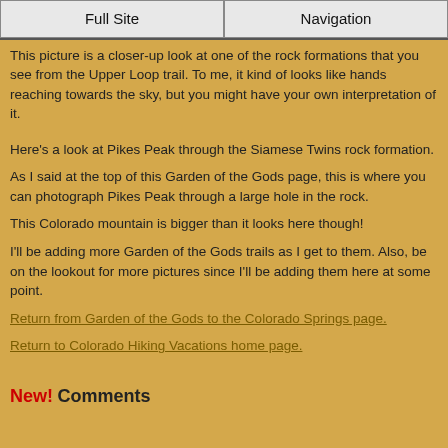Full Site | Navigation
This picture is a closer-up look at one of the rock formations that you see from the Upper Loop trail. To me, it kind of looks like hands reaching towards the sky, but you might have your own interpretation of it.
Here's a look at Pikes Peak through the Siamese Twins rock formation.
As I said at the top of this Garden of the Gods page, this is where you can photograph Pikes Peak through a large hole in the rock.
This Colorado mountain is bigger than it looks here though!
I'll be adding more Garden of the Gods trails as I get to them. Also, be on the lookout for more pictures since I'll be adding them here at some point.
Return from Garden of the Gods to the Colorado Springs page.
Return to Colorado Hiking Vacations home page.
New! Comments